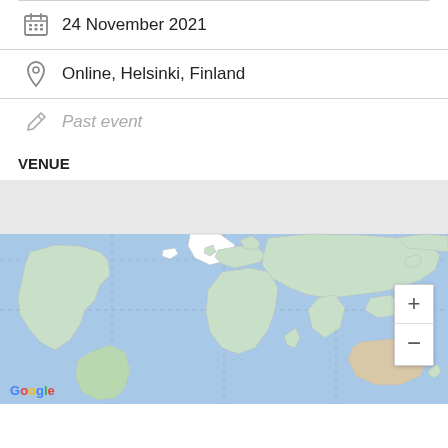24 November 2021
Online, Helsinki, Finland
Past event
VENUE
[Figure (map): Google Maps world map showing continents and oceans with zoom controls. The map is zoomed out to show the full world.]